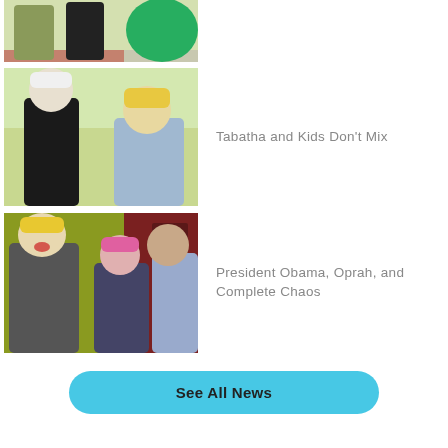[Figure (photo): Two people standing in a gym/sports facility with a large green ball, partial view cropped at top]
[Figure (photo): Two women standing outdoors in a garden setting, one with short white hair in black top, the other with blonde hair in blue top]
Tabatha and Kids Don't Mix
[Figure (photo): Three people in an interior setting: a woman with short blonde hair laughing, a woman with pink hair, and a bald man]
President Obama, Oprah, and Complete Chaos
See All News